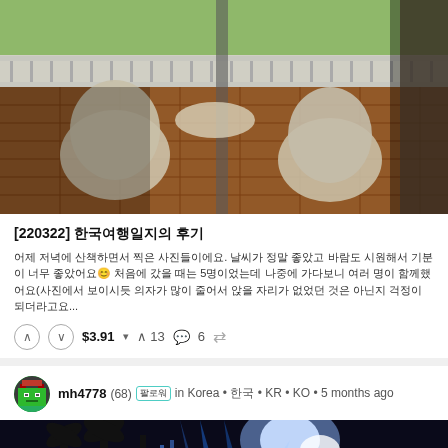[Figure (photo): Balcony with wicker chairs and a table, view of trees and railing, red tile floor, sliding glass door on the right]
[220322] 한국 여행 후기
어제 저녁에 산책하면서 찍은 사진들이에요. 날씨가 정말 좋았고 바람도 시원해서 기분이 너무 좋았어요😊 처음에 갔을 때는 5명이었는데 나중에 가다보니 여러 명이 함께했어요(사진에서 보이시듯 의자가 많이 줄어서 앉을 자리가 없었던 것은 아닌지 걱정이 되더라고요...
↑ ↓  $3.91 ▾   ↑ 13   💬 6   ⇄
mh4778(68) [멤버] in Korea • 한국 • KR • KO • 5 months ago
[Figure (photo): Night scene with blue stage lighting, silhouettes of palm trees and structures with bright spotlights]